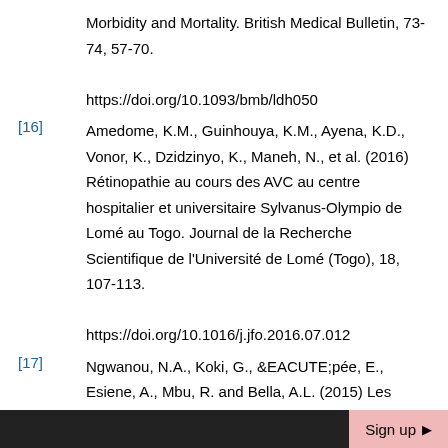Morbidity and Mortality. British Medical Bulletin, 73-74, 57-70.
https://doi.org/10.1093/bmb/ldh050
[16] Amedome, K.M., Guinhouya, K.M., Ayena, K.D., Vonor, K., Dzidzinyo, K., Maneh, N., et al. (2016) Rétinopathie au cours des AVC au centre hospitalier et universitaire Sylvanus-Olympio de Lomé au Togo. Journal de la Recherche Scientifique de l'Université de Lomé (Togo), 18, 107-113.
https://doi.org/10.1016/j.jfo.2016.07.012
[17] Ngwanou, N.A., Koki, G., &EACUTE;pée, E., Esiene, A., Mbu, R. and Bella, A.L. (2015) Les Lésions Rétiniennes au Cours de la Prééclampsie/éclampsie et leur Valeur Prédictive sur le Devenir de la Grossesse. Health Sciences
Sign up